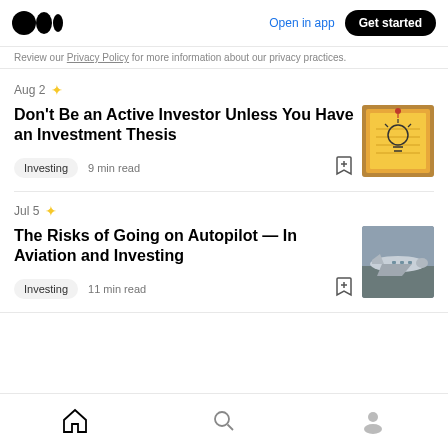Medium logo | Open in app | Get started
Review our Privacy Policy for more information about our privacy practices.
Aug 2 ★
Don't Be an Active Investor Unless You Have an Investment Thesis
[Figure (photo): Yellow sticky note with a hand-drawn light bulb pinned to a corkboard]
Investing  9 min read
Jul 5 ★
The Risks of Going on Autopilot — In Aviation and Investing
[Figure (photo): Airplane on tarmac viewed from slightly above]
Investing  11 min read
Home | Search | Profile